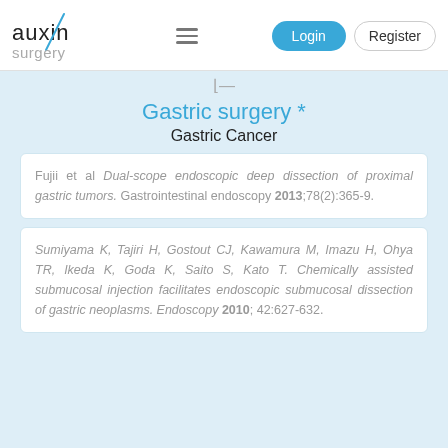[Figure (logo): Auxin Surgery logo with teal diagonal line and text]
Auxin Surgery navigation bar with hamburger menu, Login button, Register button
Gastric surgery *
Gastric Cancer
Fujii et al Dual-scope endoscopic deep dissection of proximal gastric tumors. Gastrointestinal endoscopy 2013;78(2):365-9.
Sumiyama K, Tajiri H, Gostout CJ, Kawamura M, Imazu H, Ohya TR, Ikeda K, Goda K, Saito S, Kato T. Chemically assisted submucosal injection facilitates endoscopic submucosal dissection of gastric neoplasms. Endoscopy 2010; 42:627-632.